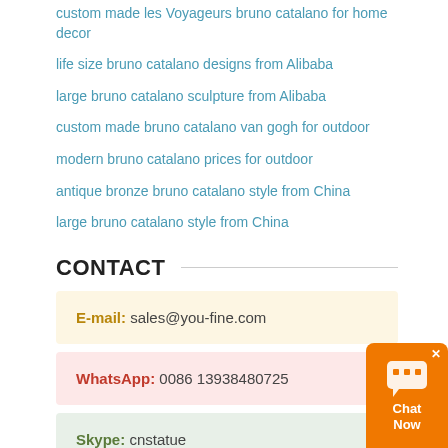custom made les Voyageurs bruno catalano for home decor
life size bruno catalano designs from Alibaba
large bruno catalano sculpture from Alibaba
custom made bruno catalano van gogh for outdoor
modern bruno catalano prices for outdoor
antique bronze bruno catalano style from China
large bruno catalano style from China
CONTACT
E-mail: sales@you-fine.com
WhatsApp: 0086 13938480725
Skype: cnstatue